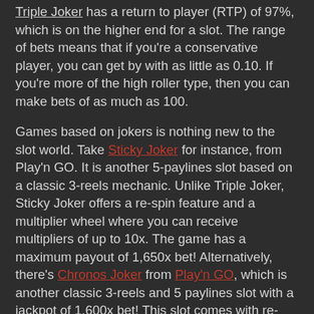Triple Joker has a return to player (RTP) of 97%, which is on the higher end for a slot. The range of bets means that if you're a conservative player, you can get by with as little as 0.10. If you're more of the high roller type, then you can make bets of as much as 100.
Games based on jokers is nothing new to the slot world. Take Sticky Joker for instance, from Play'n GO. It is another 5-paylines slot based on a classic 3-reels mechanic. Unlike Triple Joker, Sticky Joker offers a re-spin feature and a multiplier wheel where you can receive multipliers of up to 10x. The game has a maximum payout of 1,650x bet! Alternatively, there's Chronos Joker from Play'n GO, which is another classic 3-reels and 5 paylines slot with a jackpot of 1,600x bet!  This slot comes with re-spins, wilds and win multipliers.
When we turn to look to the features, it's not surprising then that a joker is the only special symbol that we find. When it forms a payline win of 5 symbols, it rewards 100x bet, making it the highest-paying symbol overall.
Optimised for Windows desktop and Android/iOS mobile, Triple Joker bitcoin slot may be just what you're looking for